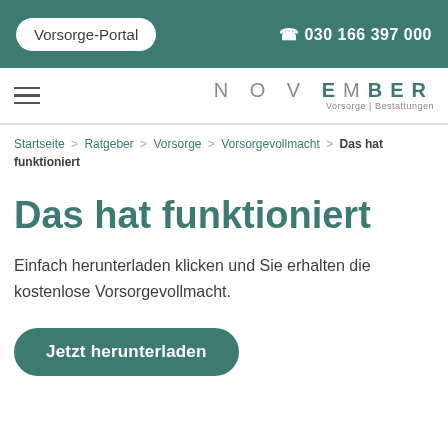Vorsorge-Portal | ☎ 030 166 397 000
NOVEMBER Vorsorge | Bestattungen
Startseite > Ratgeber > Vorsorge > Vorsorgevollmacht > Das hat funktioniert
Das hat funktioniert
Einfach herunterladen klicken und Sie erhalten die kostenlose Vorsorgevollmacht.
Jetzt herunterladen